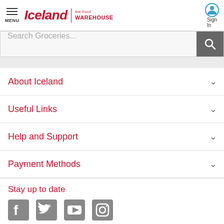Iceland | the food WAREHOUSE — MENU — Sign In
[Figure (screenshot): Search Groceries... input bar with search button]
About Iceland
Useful Links
Help and Support
Payment Methods
Stay up to date
[Figure (illustration): Social media icons: Facebook, Twitter, YouTube, Instagram]